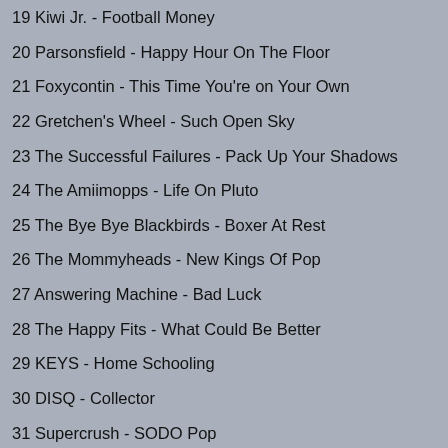19 Kiwi Jr. - Football Money
20 Parsonsfield - Happy Hour On The Floor
21 Foxycontin - This Time You're on Your Own
22 Gretchen's Wheel - Such Open Sky
23 The Successful Failures - Pack Up Your Shadows
24 The Amiimopps - Life On Pluto
25 The Bye Bye Blackbirds - Boxer At Rest
26 The Mommyheads - New Kings Of Pop
27 Answering Machine - Bad Luck
28 The Happy Fits - What Could Be Better
29 KEYS - Home Schooling
30 DISQ - Collector
31 Supercrush - SODO Pop